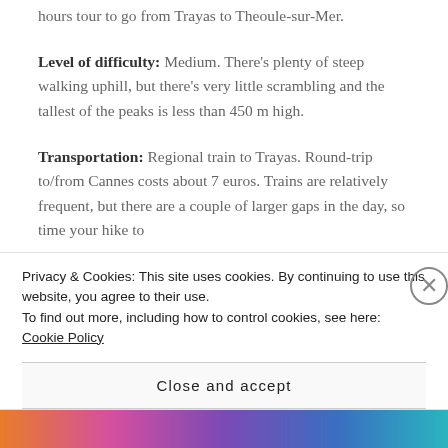hours tour to go from Trayas to Theoule-sur-Mer.
Level of difficulty: Medium. There's plenty of steep walking uphill, but there's very little scrambling and the tallest of the peaks is less than 450 m high.
Transportation: Regional train to Trayas. Round-trip to/from Cannes costs about 7 euros. Trains are relatively frequent, but there are a couple of larger gaps in the day, so time your hike to
Privacy & Cookies: This site uses cookies. By continuing to use this website, you agree to their use.
To find out more, including how to control cookies, see here: Cookie Policy
Close and accept